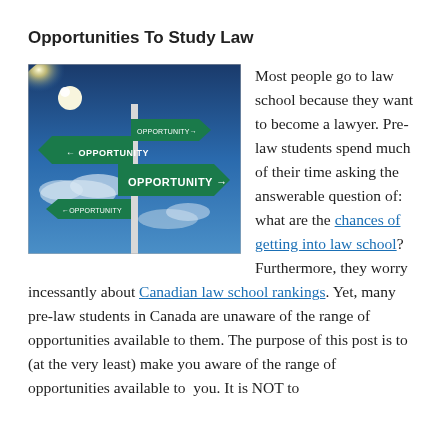Opportunities To Study Law
[Figure (photo): A street sign post with multiple green arrow signs all reading 'OPPORTUNITY' pointing in different directions, against a blue sky with clouds and a bright sun in the upper left.]
Most people go to law school because they want to become a lawyer. Pre-law students spend much of their time asking the answerable question of: what are the chances of getting into law school? Furthermore, they worry incessantly about Canadian law school rankings. Yet, many pre-law students in Canada are unaware of the range of opportunities available to them. The purpose of this post is to (at the very least) make you aware of the range of opportunities available to you. It is NOT to